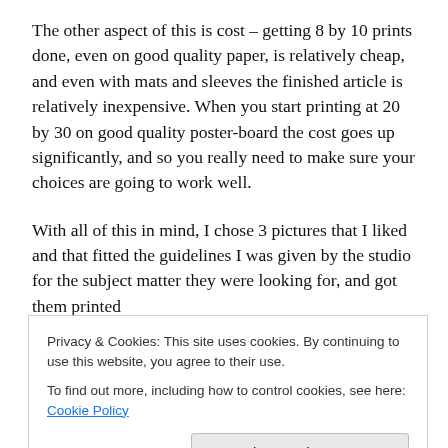The other aspect of this is cost – getting 8 by 10 prints done, even on good quality paper, is relatively cheap, and even with mats and sleeves the finished article is relatively inexpensive. When you start printing at 20 by 30 on good quality poster-board the cost goes up significantly, and so you really need to make sure your choices are going to work well.
With all of this in mind, I chose 3 pictures that I liked and that fitted the guidelines I was given by the studio for the subject matter they were looking for, and got them printed
Privacy & Cookies: This site uses cookies. By continuing to use this website, you agree to their use.
To find out more, including how to control cookies, see here: Cookie Policy
make sure it'd come out looking OK.